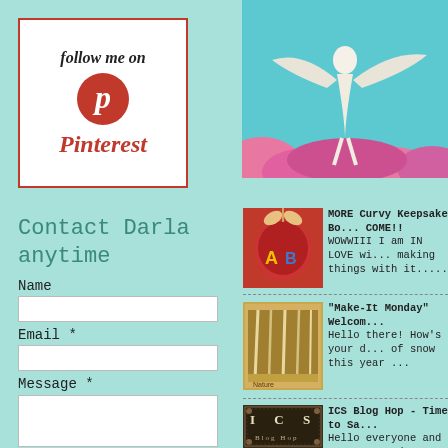[Figure (logo): Follow me on Pinterest badge: white box with red border, Pinterest logo circle, italic text 'follow me on' and 'Pinterest']
[Figure (illustration): Top right illustration of a fairy or dancer figure in white against teal sky and pink clouds/flowers]
Contact Darla anytime
Name
Email *
Message *
[Figure (photo): Red fabric gift bag with ribbon and decorative letters 'AB']
MORE Curvy Keepsake Bo... COME!! WOWWII I am IN LOVE wi... making things with it.....
[Figure (photo): Curtain or art piece showing winter birch trees in muted golden tones]
"Make-It Monday" Welcom... Hello there! How's your d... of snow this year ...
[Figure (logo): ICS Blog Hop logo with ornate border, letters I C S, and text 'Blog Hop']
ICS Blog Hop - Time to Sa... Hello everyone and WELC... products that you can get...